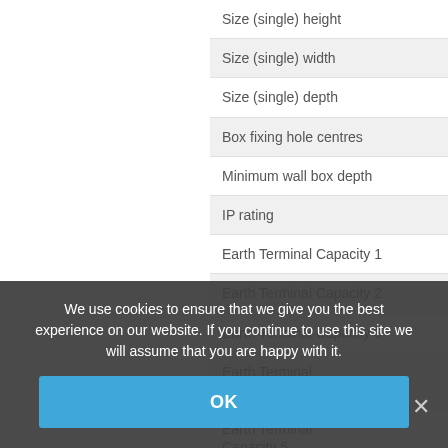| Property |
| --- |
| Size (single) height |
| Size (single) width |
| Size (single) depth |
| Box fixing hole centres |
| Minimum wall box depth |
| IP rating |
| Earth Terminal Capacity 1 |
| Earth Terminal Capacity 2 |
| Earth Terminal Capacity 3 |
| Earth Terminal Capacity 4 |
| Earth Terminal Capacity 5 |
| Product Class 1 |
| Ambient Operating Temperature |
We use cookies to ensure that we give you the best experience on our website. If you continue to use this site we will assume that you are happy with it.